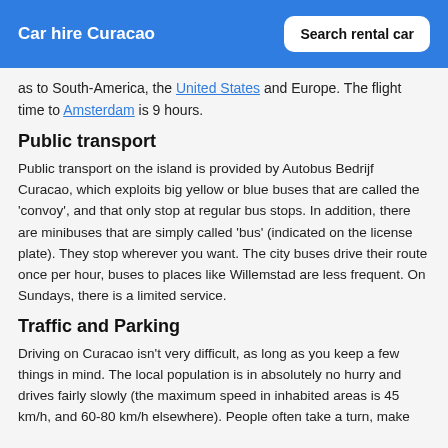Car hire Curacao | Search rental car
as to South-America, the United States and Europe. The flight time to Amsterdam is 9 hours.
Public transport
Public transport on the island is provided by Autobus Bedrijf Curacao, which exploits big yellow or blue buses that are called the 'convoy', and that only stop at regular bus stops. In addition, there are minibuses that are simply called 'bus' (indicated on the license plate). They stop wherever you want. The city buses drive their route once per hour, buses to places like Willemstad are less frequent. On Sundays, there is a limited service.
Traffic and Parking
Driving on Curacao isn't very difficult, as long as you keep a few things in mind. The local population is in absolutely no hurry and drives fairly slowly (the maximum speed in inhabited areas is 45 km/h, and 60-80 km/h elsewhere). People often take a turn, make